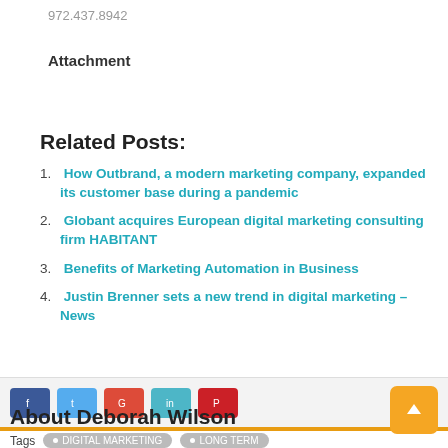972.437.8942
Attachment
Related Posts:
How Outbrand, a modern marketing company, expanded its customer base during a pandemic
Globant acquires European digital marketing consulting firm HABITANT
Benefits of Marketing Automation in Business
Justin Brenner sets a new trend in digital marketing – News
[Figure (other): Social share buttons: Facebook, Twitter, Google+, LinkedIn, Pinterest]
Tags  • DIGITAL MARKETING  • LONG TERM
About Deborah Wilson